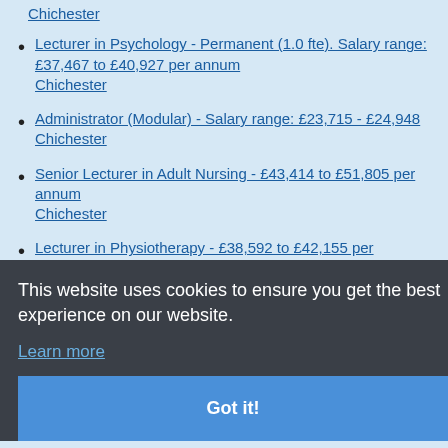Lecturer in Psychology - Permanent (1.0 fte). Salary range: £37,467 to £40,927 per annum Chichester
Administrator (Modular) - Salary range: £23,715 - £24,948 Chichester
Senior Lecturer in Adult Nursing - £43,414 to £51,805 per annum Chichester
Lecturer in Physiotherapy - £38,592 to £42,155 per [annum Chichester]
Senior Lecturer in Physiotherapy - £43,414 to £51,805 per annum Chichester
Lecturer in Aerospace / Aeronautical Engineering - Salary range: £37,467 to £40,927 per annum. (1.0 FTE)
This website uses cookies to ensure you get the best experience on our website. Learn more Got it!